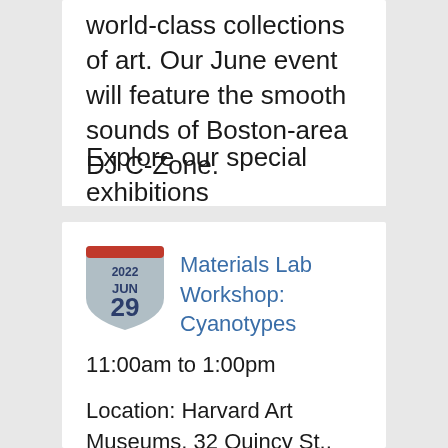world-class collections of art. Our June event will feature the smooth sounds of Boston-area DJ C-Zone.
Explore our special exhibitions Prints from the Brandywine Workshop and...
[Figure (other): Calendar badge showing 2022 JUN 29 in a shield/badge shape with a red bar at the top and grey body]
Materials Lab Workshop: Cyanotypes
11:00am to 1:00pm
Location: Harvard Art Museums, 32 Quincy St., Cambridge